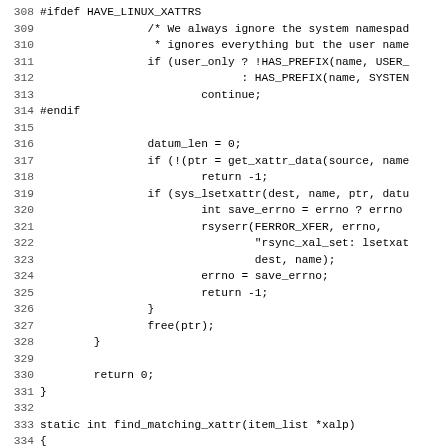Source code listing lines 308-339, C/rsync code showing xattr handling functions